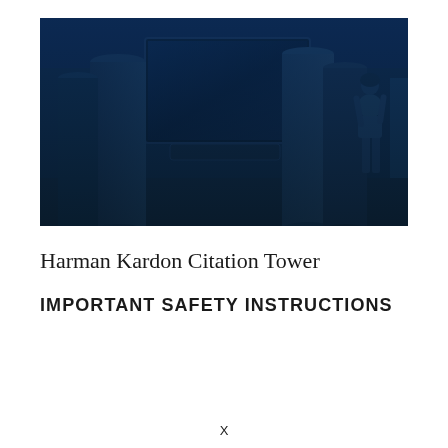[Figure (photo): A blue-tinted room scene showing tall cylindrical speaker towers, a wall-mounted TV/display, a soundbar, and a woman standing in the background near a window. The entire photo has a strong blue color overlay.]
Harman Kardon Citation Tower
IMPORTANT SAFETY INSTRUCTIONS
X